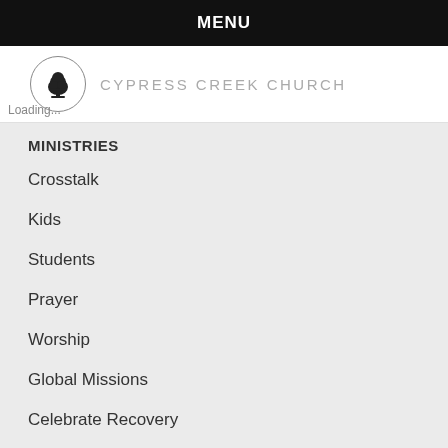MENU
[Figure (logo): Cypress Creek Church logo: a tree silhouette inside a circle, with text CYPRESS CREEK CHURCH]
MINISTRIES
Crosstalk
Kids
Students
Prayer
Worship
Global Missions
Celebrate Recovery
Women
Marriage Ministry
Men
MESSAGES